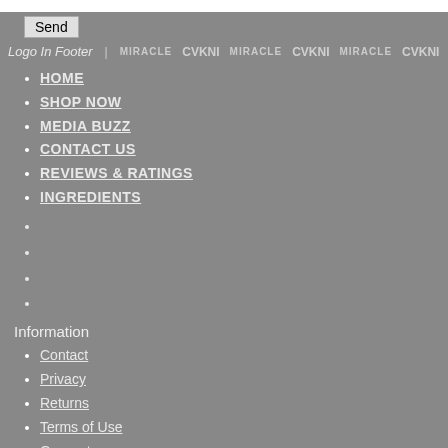Send
Logo In Footer | MIRACLE CVKNI MIRACLE CVKNI MIRACLE CVKNI MIRACLE CV
HOME
SHOP NOW
MEDIA BUZZ
CONTACT US
REVIEWS & RATINGS
INGREDIENTS
Information
Contact
Privacy
Returns
Terms of Use
Guarantee
FAQ
Contact us
info@miracleskintransformer.com